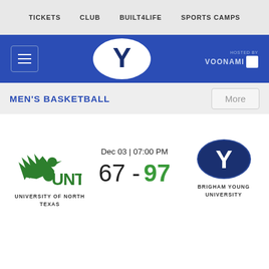TICKETS   CLUB   BUILT4LIFE   SPORTS CAMPS
[Figure (logo): BYU athletics header with hamburger menu, BYU Y logo oval in white, and HOSTED BY VOONAMI text with QR code on blue background]
MEN'S BASKETBALL
[Figure (logo): University of North Texas (UNT) green eagle logo with text UNIVERSITY OF NORTH TEXAS below]
Dec 03 | 07:00 PM
67 - 97
[Figure (logo): Brigham Young University dark blue oval Y logo with BRIGHAM YOUNG UNIVERSITY text below]